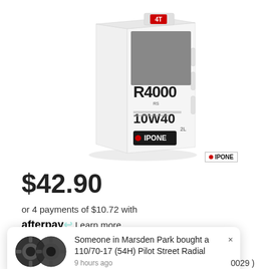[Figure (photo): IPONE R4000 RS 10W40 4T motorcycle engine oil bottle, white container with black and red branding, 2L]
$42.90
or 4 payments of $10.72 with afterpay Learn more
Someone in Marsden Park bought a 110/70-17 (54H) Pilot Street Radial 9 hours ago
0029 )
C T N8